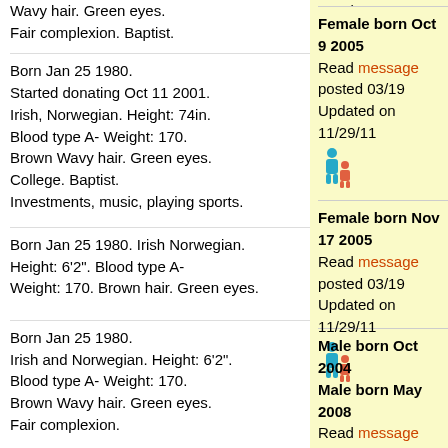Wavy hair. Green eyes. Fair complexion. Baptist.
Read message posted 03/22. Updated on 11/29/11
[Figure (illustration): Icon of adult figure with child]
Born Jan 25 1980.
Started donating Oct 11 2001.
Irish, Norwegian. Height: 74in.
Blood type A- Weight: 170.
Brown Wavy hair. Green eyes.
College. Baptist.
Investments, music, playing sports.
Female born Oct 9 2005
Read message posted 03/19
Updated on 11/29/11
[Figure (illustration): Icon of adult figure with child]
Born Jan 25 1980. Irish Norwegian.
Height: 6'2". Blood type A-
Weight: 170. Brown hair. Green eyes.
Female born Nov 17 2005
Read message posted 03/19
Updated on 11/29/11
[Figure (illustration): Icon of adult figure with child]
Born Jan 25 1980.
Irish and Norwegian. Height: 6'2".
Blood type A- Weight: 170.
Brown Wavy hair. Green eyes.
Fair complexion.
Male born Oct 2004
Male born May 2008
Read message posted 12/27
Updated on 11/29/11
[Figure (illustration): Icon of adult figure with child]